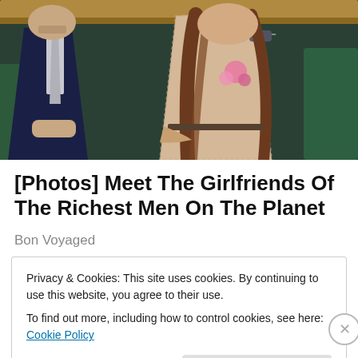[Figure (photo): Two people seated in stadium/event seating: a man in a navy suit with a white tie on the left, and a woman with long brown hair wearing sunglasses and a beige lace outfit with a pink flower corsage on the right.]
[Photos] Meet The Girlfriends Of The Richest Men On The Planet
Bon Voyaged
Privacy & Cookies: This site uses cookies. By continuing to use this website, you agree to their use.
To find out more, including how to control cookies, see here: Cookie Policy
Close and accept